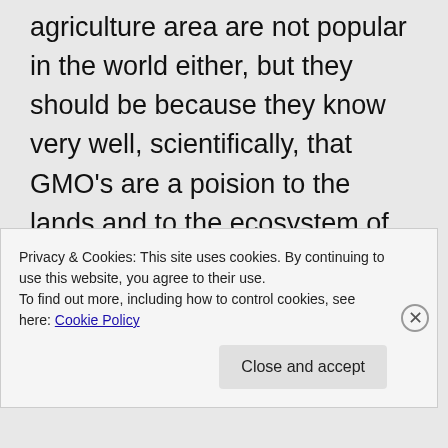agriculture area are not popular in the world either, but they should be because they know very well, scientifically, that GMO's are a poision to the lands and to the ecosystem of the Earth!

In the same way you accuse me of using those fallacies, I can also say the same about
Privacy & Cookies: This site uses cookies. By continuing to use this website, you agree to their use.
To find out more, including how to control cookies, see here: Cookie Policy